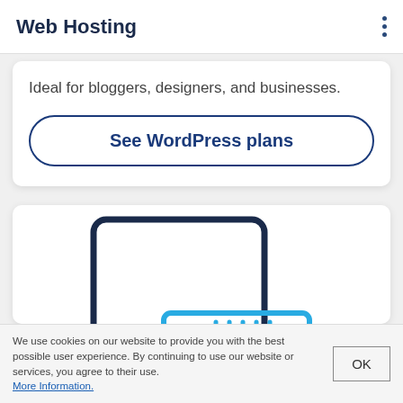Web Hosting
Ideal for bloggers, designers, and businesses.
See WordPress plans
[Figure (illustration): Line-art illustration of a desktop monitor/screen behind a server rack unit, drawn in dark navy and cyan blue colors.]
We use cookies on our website to provide you with the best possible user experience. By continuing to use our website or services, you agree to their use. More Information.